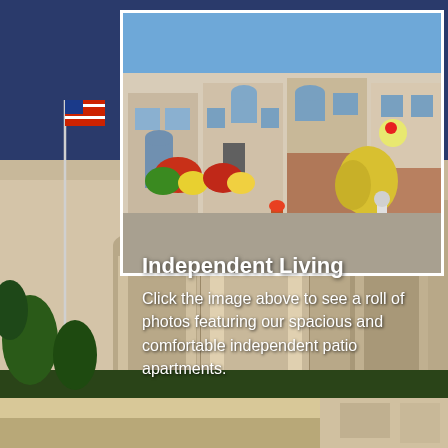[Figure (photo): Background photo of a senior living community building with covered arched entrance, green lawn, an American flag on a pole on the left, and brick/stucco facade]
[Figure (photo): Inset photo showing a row of residential patio homes/apartments with arched entryways, brick facades, colorful flower gardens, hanging flower baskets, a garden statue, and a driveway]
Independent Living
Click the image above to see a roll of photos featuring our spacious and comfortable independent patio apartments.
[Figure (photo): Bottom strip photo showing a sandy/beige colored walkway or patio area]